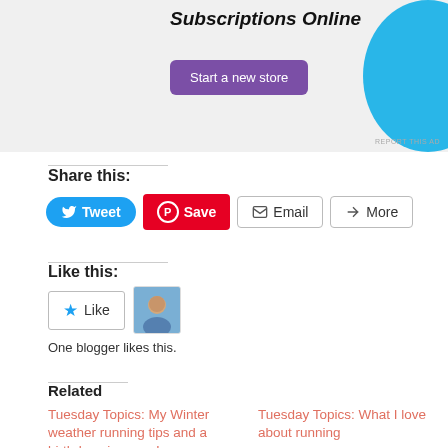[Figure (other): Advertisement banner with purple 'Start a new store' button and blue decorative shape, partially visible at top of page]
REPORT THIS AD
Share this:
[Figure (other): Share buttons: Tweet (Twitter blue), Save (Pinterest red), Email (outline), More (outline)]
Like this:
[Figure (other): Like widget with star icon and blogger avatar thumbnail]
One blogger likes this.
Related
Tuesday Topics: My Winter weather running tips and a birthday giveaway!
November 19, 2019
In "Giveaway"
Tuesday Topics: What I love about running
February 12, 2019
In "Oiselle"